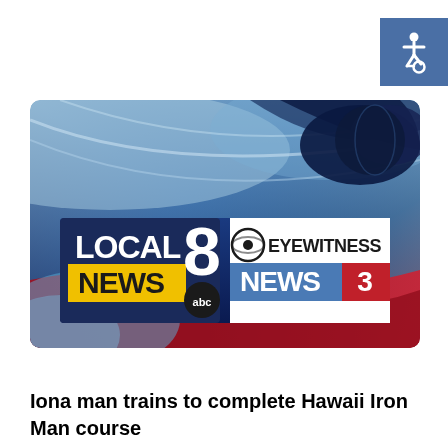[Figure (logo): Accessibility wheelchair icon on blue/purple background, top right corner]
[Figure (screenshot): Local 8 News / ABC and CBS Eyewitness News 3 broadcast station logo graphic with blue and red sweeping background design]
Iona man trains to complete Hawaii Iron Man course